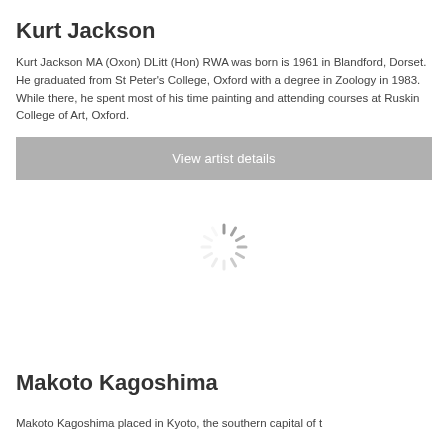Kurt Jackson
Kurt Jackson MA (Oxon) DLitt (Hon) RWA was born is 1961 in Blandford, Dorset. He graduated from St Peter’s College, Oxford with a degree in Zoology in 1983. While there, he spent most of his time painting and attending courses at Ruskin College of Art, Oxford.
View artist details
[Figure (other): Loading spinner graphic (circular dashed spinner icon in gray)]
Makoto Kagoshima
Makoto Kagoshima placed in Kyoto, the southern capital of t...